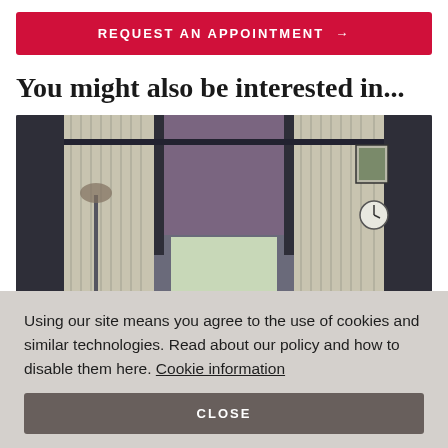REQUEST AN APPOINTMENT →
You might also be interested in...
[Figure (photo): Interior room with bay window featuring patterned curtains and a purple roller blind, dark grey walls, framed picture on wall, clock visible on right side.]
Using our site means you agree to the use of cookies and similar technologies. Read about our policy and how to disable them here. Cookie information
CLOSE